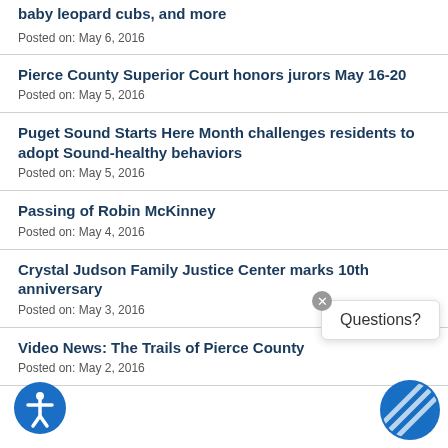baby leopard cubs, and more
Posted on: May 6, 2016
Pierce County Superior Court honors jurors May 16-20
Posted on: May 5, 2016
Puget Sound Starts Here Month challenges residents to adopt Sound-healthy behaviors
Posted on: May 5, 2016
Passing of Robin McKinney
Posted on: May 4, 2016
Crystal Judson Family Justice Center marks 10th anniversary
Posted on: May 3, 2016
Video News: The Trails of Pierce County
Posted on: May 2, 2016